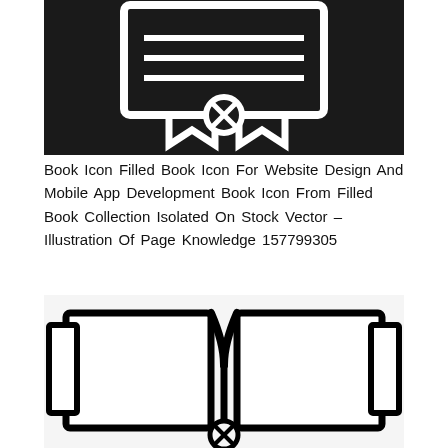[Figure (illustration): Book icon with an X/remove button on dark background — top portion of icon visible, showing a monitor/tablet frame with a book icon and a circular X mark in the center, white strokes on black background.]
Book Icon Filled Book Icon For Website Design And Mobile App Development Book Icon From Filled Book Collection Isolated On Stock Vector – Illustration Of Page Knowledge 157799305
[Figure (illustration): Open book outline icon on light gray background — an open book drawn with thick black strokes, pages spread open, with a circular X mark at the bottom center spine. Partially cropped at bottom.]